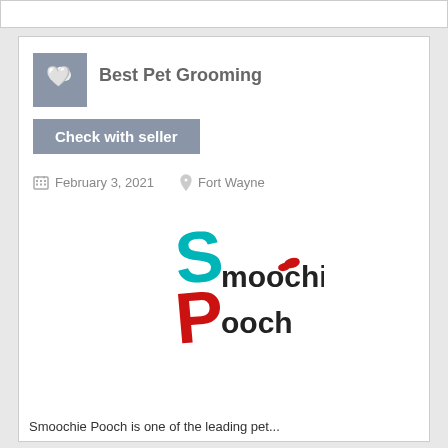Best Pet Grooming
Check with seller
February 3, 2021   Fort Wayne
[Figure (logo): Smoochie Pooch logo with teal S, red P, and stylized text]
Smoochie Pooch is one of the leading pet...